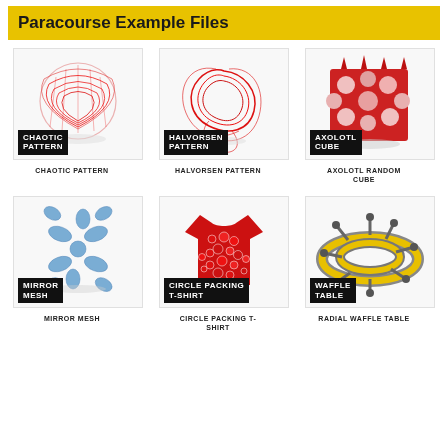Paracourse Example Files
[Figure (illustration): Red chaotic wire-frame 3D pattern shaped like a heart/sphere with overlapping curves, labeled CHAOTIC PATTERN]
CHAOTIC PATTERN
[Figure (illustration): Red 3D Halvorsen attractor pattern, swirling trefoil-like form, labeled HALVORSEN PATTERN]
HALVORSEN PATTERN
[Figure (illustration): Red sponge-like cube with circular holes (Axolotl pattern), labeled AXOLOTL CUBE]
AXOLOTL RANDOM CUBE
[Figure (illustration): Blue snowflake/coral-like mirror mesh 3D shape, labeled MIRROR MESH]
MIRROR MESH
[Figure (illustration): Red t-shirt covered in circle packing pattern, labeled CIRCLE PACKING T-SHIRT]
CIRCLE PACKING T-SHIRT
[Figure (illustration): Yellow and grey radial waffle table ring structure, labeled WAFFLE TABLE]
RADIAL WAFFLE TABLE